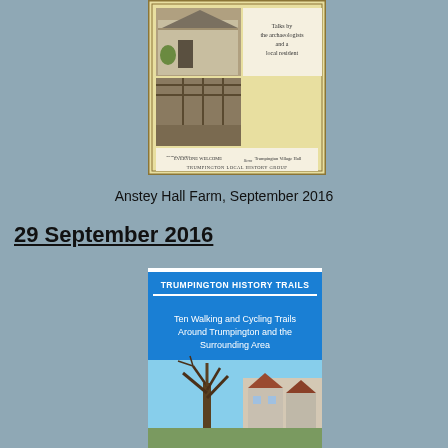[Figure (photo): Flyer for Trumpington Local History Group event about Anstey Hall Farm, with photos of farm buildings and text about talks by archaeologists and a local resident. Thursday September 29 2016, 8pm, Trumpington Village Hall. Entry £2.50, Everyone Welcome.]
Anstey Hall Farm, September 2016
29 September 2016
[Figure (photo): Cover of Trumpington History Trails booklet: Ten Walking and Cycling Trails Around Trumpington and the Surrounding Area, with a photo of a tree and houses on a blue background.]